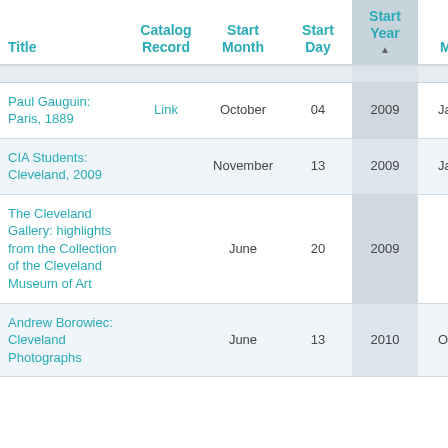| Title | Catalog Record | Start Month | Start Day | Start Year | End Month |
| --- | --- | --- | --- | --- | --- |
| Paul Gauguin: Paris, 1889 | Link | October | 04 | 2009 | January |
| CIA Students: Cleveland, 2009 |  | November | 13 | 2009 | January |
| The Cleveland Gallery: highlights from the Collection of the Cleveland Museum of Art |  | June | 20 | 2009 | May |
| Andrew Borowiec: Cleveland Photographs |  | June | 13 | 2010 | October |